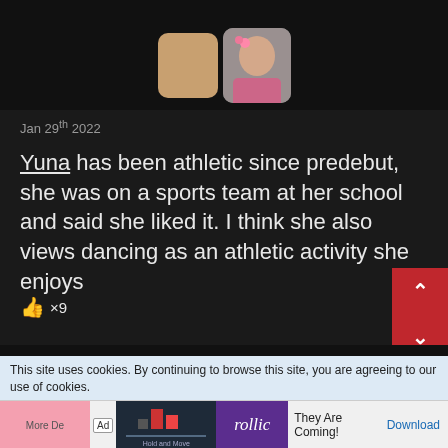[Figure (photo): Dark background with two side-by-side images: a tan/gold square avatar placeholder on the left, and a photo of a young Asian woman with pink hair accessories on the right]
Jan 29th 2022
Yuna has been athletic since predebut, she was on a sports team at her school and said she liked it. I think she also views dancing as an athletic activity she enjoys
👍 ×9
[Figure (screenshot): Navigation up/down arrow buttons on red background]
This site uses cookies. By continuing to browse this site, you are agreeing to our use of cookies.
[Figure (screenshot): Ad banner: pink section, Ad badge, game screenshot with Hold and Move label, Rollic purple logo, They Are Coming! text, Download link]